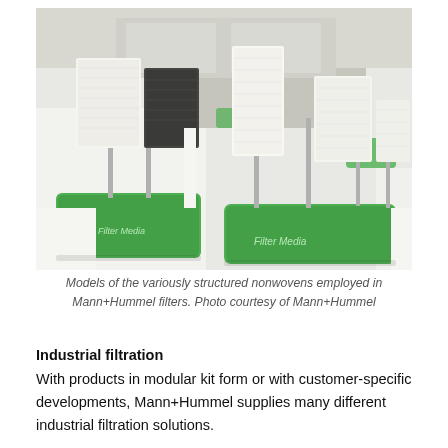[Figure (photo): Exhibition booth displaying models of variously structured nonwovens (filter media) mounted on green display pedestals. White fibrous filter material samples on metal stands, with green bases labeled 'Filter Media'. Background shows additional display stands and booth signage.]
Models of the variously structured nonwovens employed in Mann+Hummel filters. Photo courtesy of Mann+Hummel
Industrial filtration
With products in modular kit form or with customer-specific developments, Mann+Hummel supplies many different industrial filtration solutions.